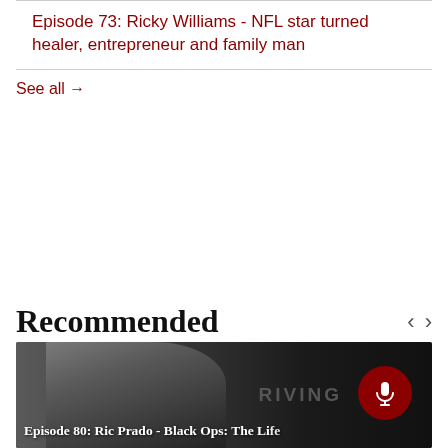Episode 73: Ricky Williams - NFL star turned healer, entrepreneur and family man
See all →
Recommended
[Figure (photo): Thumbnail image of Episode 80 featuring Ric Prado, showing a man with gray hair against a dark background with partial text 'THRIVING'. A red microphone button is overlaid. Caption reads: Episode 80: Ric Prado - Black Ops: The Life...]